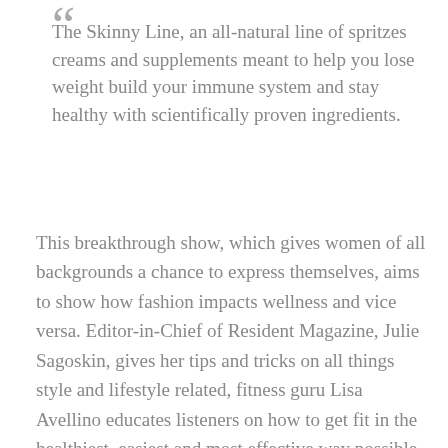The Skinny Line, an all-natural line of spritzes creams and supplements meant to help you lose weight build your immune system and stay healthy with scientifically proven ingredients.
This breakthrough show, which gives women of all backgrounds a chance to express themselves, aims to show how fashion impacts wellness and vice versa. Editor-in-Chief of Resident Magazine, Julie Sagoskin, gives her tips and tricks on all things style and lifestyle related, fitness guru Lisa Avellino educates listeners on how to get fit in the healthiest, easiest and most effective way possible, and functional nutritionist Jacqui Justice has just the